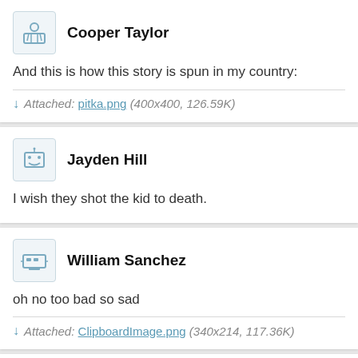Cooper Taylor
And this is how this story is spun in my country:
Attached: pitka.png (400x400, 126.59K)
Jayden Hill
I wish they shot the kid to death.
William Sanchez
oh no too bad so sad
Attached: ClipboardImage.png (340x214, 117.36K)
Adam Powell
Did I miss anything?